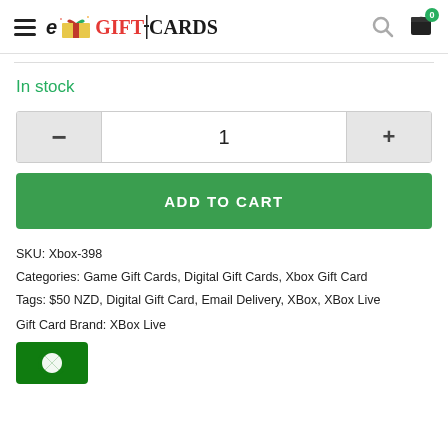eGiftCards - navigation header with hamburger menu, logo, search icon, and cart
In stock
1
ADD TO CART
SKU: Xbox-398
Categories: Game Gift Cards, Digital Gift Cards, Xbox Gift Card
Tags: $50 NZD, Digital Gift Card, Email Delivery, XBox, XBox Live
Gift Card Brand: XBox Live
[Figure (logo): Xbox logo on green background]